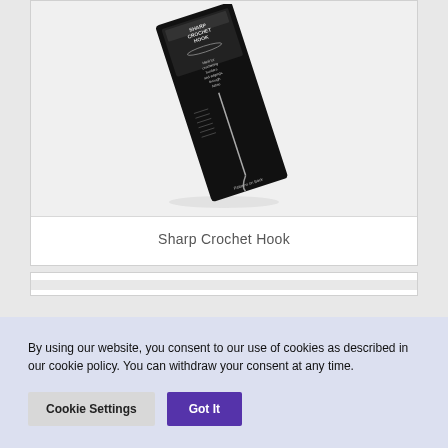[Figure (photo): Product photo of a Sharp Crochet Hook in black packaging, shown diagonally. The packaging text reads 'Sharp Crochet Hook', 'Ideal for crocheting borders and edgings through fabric', 'Patterns on Back'.]
Sharp Crochet Hook
By using our website, you consent to our use of cookies as described in our cookie policy. You can withdraw your consent at any time.